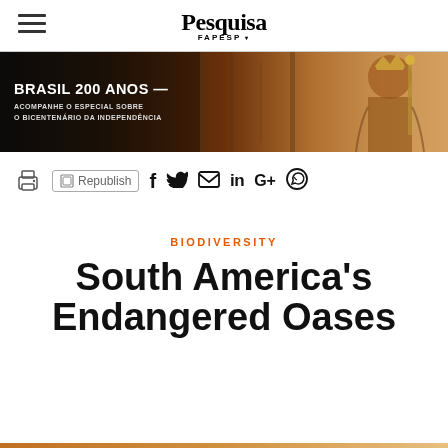Pesquisa FAPESP
[Figure (photo): Banner image with text 'BRASIL 200 ANOS — ACOMPANHE O ESPECIAL SOBRE O BICENTENÁRIO DA INDEPENDÊNCIA' overlaid on a painting of a historical royal figure holding a scepter with red and gold tones.]
Print | Republish | Facebook | Twitter | Email | LinkedIn | Google+ | WhatsApp
BIODIVERSITY
South America's Endangered Oases